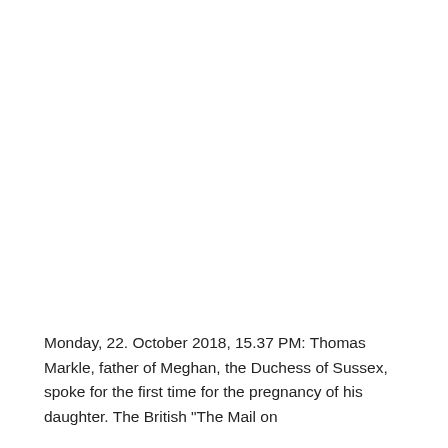Monday, 22. October 2018, 15.37 PM: Thomas Markle, father of Meghan, the Duchess of Sussex, spoke for the first time for the pregnancy of his daughter. The British "The Mail on